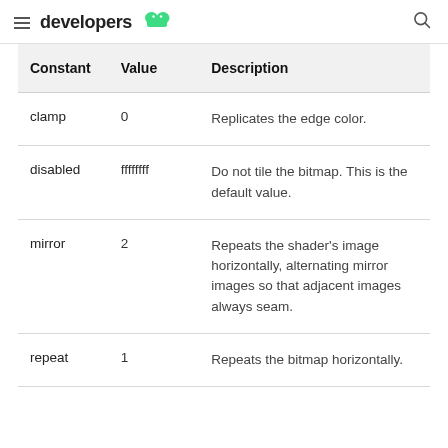developers
| Constant | Value | Description |
| --- | --- | --- |
| clamp | 0 | Replicates the edge color. |
| disabled | ffffffff | Do not tile the bitmap. This is the default value. |
| mirror | 2 | Repeats the shader's image horizontally, alternating mirror images so that adjacent images always seam. |
| repeat | 1 | Repeats the bitmap horizontally. |